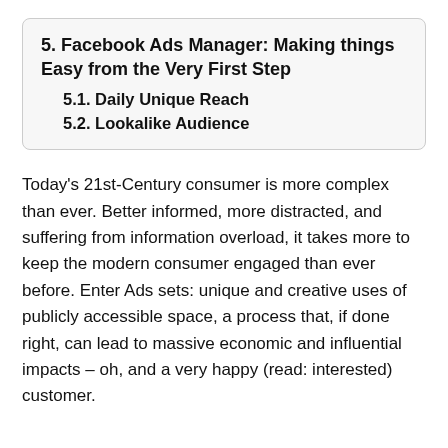5. Facebook Ads Manager: Making things Easy from the Very First Step
5.1. Daily Unique Reach
5.2. Lookalike Audience
Today’s 21st-Century consumer is more complex than ever. Better informed, more distracted, and suffering from information overload, it takes more to keep the modern consumer engaged than ever before. Enter Ads sets: unique and creative uses of publicly accessible space, a process that, if done right, can lead to massive economic and influential impacts – oh, and a very happy (read: interested) customer.